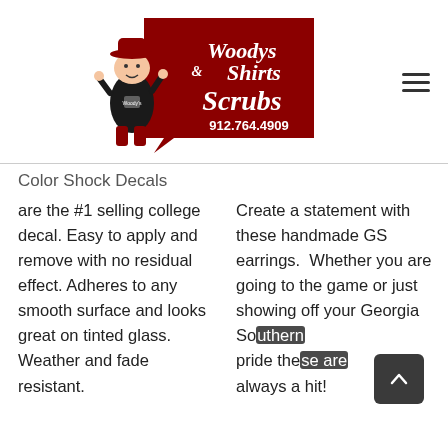[Figure (logo): Woody's Shirts & Scrubs logo with cartoon cowboy character, red banner shape, and phone number 912.764.4909]
Color Shock Decals are the #1 selling college decal. Easy to apply and remove with no residual effect. Adheres to any smooth surface and looks great on tinted glass. Weather and fade resistant.
Create a statement with these handmade GS earrings. Whether you are going to the game or just showing off your Georgia Southern pride these are always a hit!